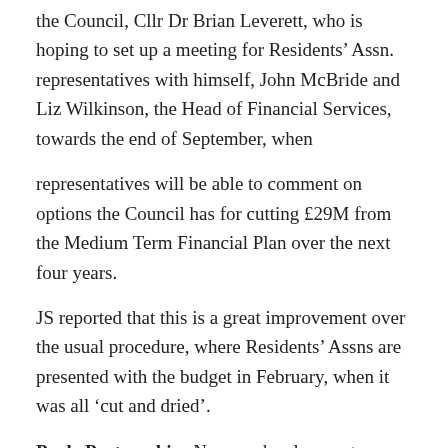the Council, Cllr Dr Brian Leverett, who is hoping to set up a meeting for Residents' Assn. representatives with himself, John McBride and Liz Wilkinson, the Head of Financial Services, towards the end of September, when
representatives will be able to comment on options the Council has for cutting £29M from the Medium Term Financial Plan over the next four years.
JS reported that this is a great improvement over the usual procedure, where Residents' Assns are presented with the budget in February, when it was all ‘cut and dried’.
Poole Partnership: No new developments.
Public Rights of Way:
Westminster Road end of Dalkeith Road – Meeting with